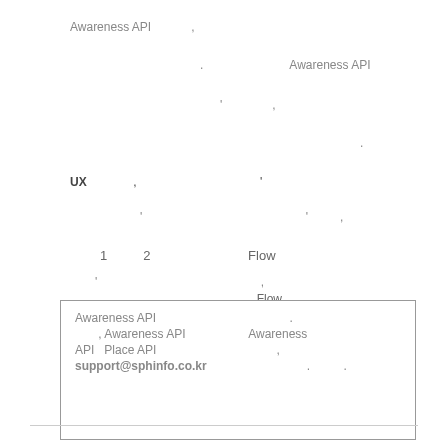Awareness API ,
. Awareness API
' '
.
UX , '
'
' '
1  2  Flow
' '
. Flow
' '
Awareness API . , Awareness API  Awareness API  Place API , support@sphinfo.co.kr . .